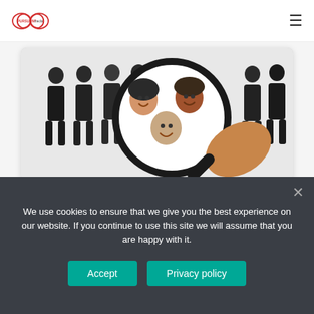Pursuant Media — navigation header with logo and hamburger menu
[Figure (photo): A magnifying glass held over a crowd of people silhouettes, revealing smiling diverse group of people inside the lens]
CONTRIBUTING
6 foolproof ways to increase customer base
We use cookies to ensure that we give you the best experience on our website. If you continue to use this site we will assume that you are happy with it.
Accept | Privacy policy